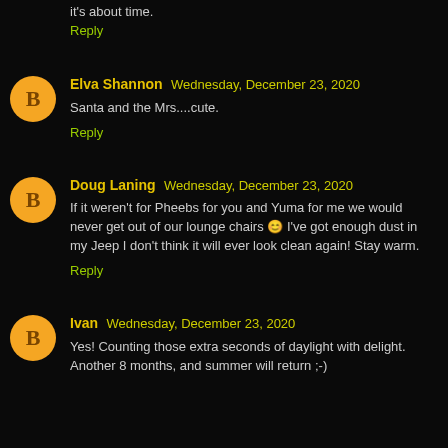it's about time.
Reply
Elva Shannon Wednesday, December 23, 2020
Santa and the Mrs....cute.
Reply
Doug Laning Wednesday, December 23, 2020
If it weren't for Pheebs for you and Yuma for me we would never get out of our lounge chairs 😊 I've got enough dust in my Jeep I don't think it will ever look clean again! Stay warm.
Reply
Ivan Wednesday, December 23, 2020
Yes! Counting those extra seconds of daylight with delight. Another 8 months, and summer will return ;-)